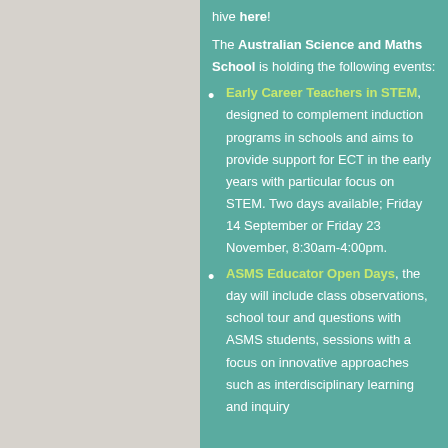hive here!
The Australian Science and Maths School is holding the following events:
Early Career Teachers in STEM, designed to complement induction programs in schools and aims to provide support for ECT in the early years with particular focus on STEM. Two days available; Friday 14 September or Friday 23 November, 8:30am-4:00pm.
ASMS Educator Open Days, the day will include class observations, school tour and questions with ASMS students, sessions with a focus on innovative approaches such as interdisciplinary learning and inquiry